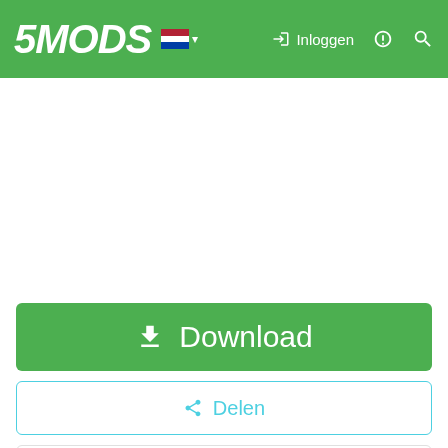5MODS — Inloggen
Download
Delen
Rmod Customs
[Figure (logo): Rmod Customs logo with red R and black MOD CUSTOMS text]
[Figure (other): YouTube 4K badge and social icons (home, chat, YouTube, Discord)]